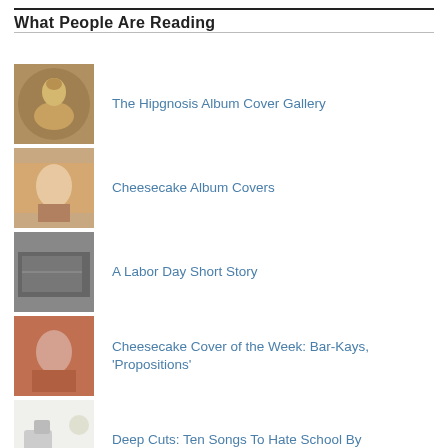What People Are Reading
The Hipgnosis Album Cover Gallery
Cheesecake Album Covers
A Labor Day Short Story
Cheesecake Cover of the Week: Bar-Kays, 'Propositions'
Deep Cuts: Ten Songs To Hate School By
Choose and Defend: The Million Dollar Decision
Deep Cuts: Eight Songs About the Number Four
From The Stacks: The Beatles, 'White Album' (White Vinyl)